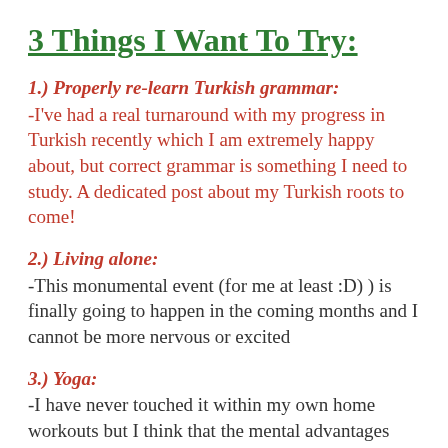3 Things I Want To Try:
1.) Properly re-learn Turkish grammar:
-I've had a real turnaround with my progress in Turkish recently which I am extremely happy about, but correct grammar is something I need to study. A dedicated post about my Turkish roots to come!
2.) Living alone:
-This monumental event (for me at least :D) ) is finally going to happen in the coming months and I cannot be more nervous or excited
3.) Yoga:
-I have never touched it within my own home workouts but I think that the mental advantages